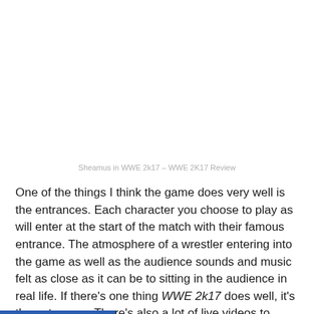[Figure (photo): White/blank image area at top of page representing a photo of Sheamus in WWE 2k17]
Sheamus in WWE 2k17 – WWE 2K17 Review
One of the things I think the game does very well is the entrances. Each character you choose to play as will enter at the start of the match with their famous entrance. The atmosphere of a wrestler entering into the game as well as the audience sounds and music felt as close as it can be to sitting in the audience in real life. If there's one thing WWE 2k17 does well, it's the entrances. There's also a lot of live videos to watch which are great too and I'm sure the fans will